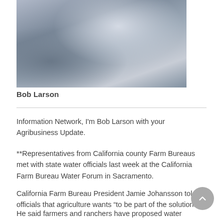[Figure (photo): Person sitting at a desk with hands on a keyboard, wearing a blue-gray shirt. Photo is in blue-gray tones.]
Bob Larson
Information Network, I'm Bob Larson with your Agribusiness Update.
**Representatives from California county Farm Bureaus met with state water officials last week at the California Farm Bureau Water Forum in Sacramento.
California Farm Bureau President Jamie Johansson told officials that agriculture wants “to be part of the solution.”
He said farmers and ranchers have proposed water